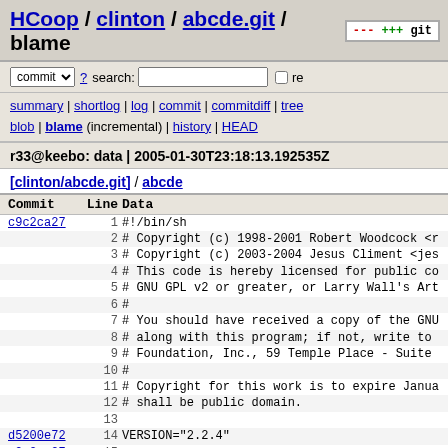HCoop / clinton / abcde.git / blame
commit ▾ ? search:  re
summary | shortlog | log | commit | commitdiff | tree blob | blame (incremental) | history | HEAD
r33@keebo: data | 2005-01-30T23:18:13.192535Z
[clinton/abcde.git] / abcde
| Commit | Line | Data |
| --- | --- | --- |
| c9c2ca27 | 1 | #!/bin/sh |
|  | 2 | # Copyright (c) 1998-2001 Robert Woodcock <r |
|  | 3 | # Copyright (c) 2003-2004 Jesus Climent <jes |
|  | 4 | # This code is hereby licensed for public co |
|  | 5 | # GNU GPL v2 or greater, or Larry Wall's Art |
|  | 6 | # |
|  | 7 | # You should have received a copy of the GNU |
|  | 8 | # along with this program; if not, write to |
|  | 9 | # Foundation, Inc., 59 Temple Place - Suite |
|  | 10 | # |
|  | 11 | # Copyright for this work is to expire Janua |
|  | 12 | # shall be public domain. |
|  | 13 |  |
| d5200e72 | 14 | VERSION="2.2.4" |
| c9c2ca27 | 15 |  |
|  | 16 | usage () |
|  | 17 | { |
|  | 18 | echo "This is abcde v$VERSION..." |